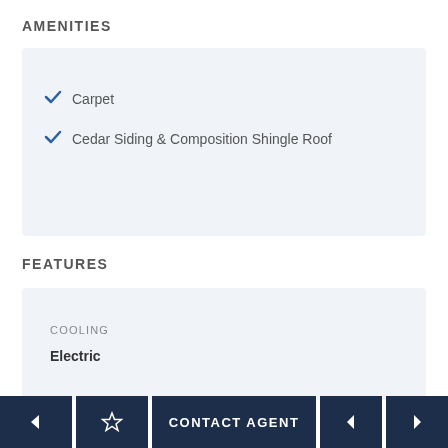AMENITIES
Carpet
Cedar Siding & Composition Shingle Roof
FEATURES
COOLING
Electric
CONTACT AGENT